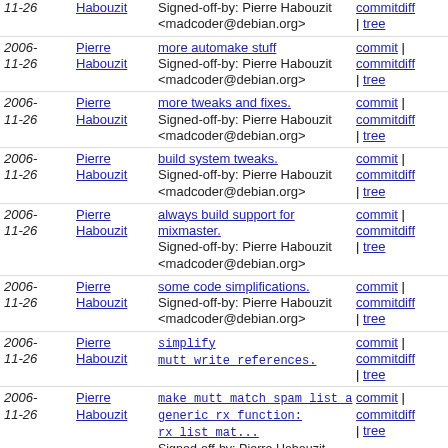2006-11-26 Pierre Habouzit | Signed-off-by: Pierre Habouzit <madcoder@debian.org> | commitdiff | tree
2006-11-26 Pierre Habouzit | more automake stuff | Signed-off-by: Pierre Habouzit <madcoder@debian.org> | commit | commitdiff | tree
2006-11-26 Pierre Habouzit | more tweaks and fixes. | Signed-off-by: Pierre Habouzit <madcoder@debian.org> | commit | commitdiff | tree
2006-11-26 Pierre Habouzit | build system tweaks. | Signed-off-by: Pierre Habouzit <madcoder@debian.org> | commit | commitdiff | tree
2006-11-26 Pierre Habouzit | always build support for mixmaster. | Signed-off-by: Pierre Habouzit <madcoder@debian.org> | commit | commitdiff | tree
2006-11-26 Pierre Habouzit | some code simplifications. | Signed-off-by: Pierre Habouzit <madcoder@debian.org> | commit | commitdiff | tree
2006-11-26 Pierre Habouzit | simplify mutt_write_references. | commit | commitdiff | tree
2006-11-26 Pierre Habouzit | make mutt_match_spam_list a generic rx function: rx_list_mat... | Signed-off-by: Pierre Habouzit <madcoder@debian.org> | commit | commitdiff | tree